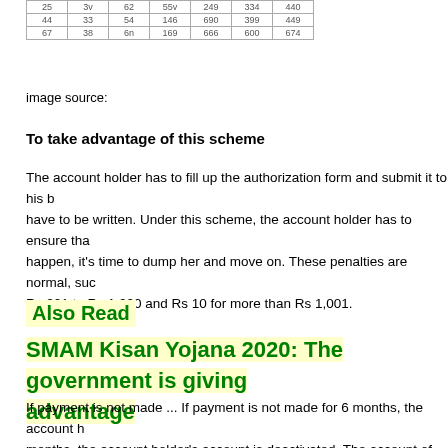[Figure (table-as-image): Partial table with blurred numeric data showing rows and columns with numeric values]
image source:
To take advantage of this scheme
The account holder has to fill up the authorization form and submit it to his b... have to be written. Under this scheme, the account holder has to ensure tha... happen, it's time to dump her and move on. These penalties are normal, suc... Rs 201 to Rs 1,000 and Rs 10 for more than Rs 1,001.
Also Read
SMAM Kisan Yojana 2020: The government is giving advantage
If payment is not made ... If payment is not made for 6 months, the account h... months, the account holder's account is deactivated. The account of the pers... Anyone who does not have an account has to open a bank account first and... of 'APY' has to be submitted. If you want to exit the plan ...
Under normal circumstances, an account holder in Atal Pension Scheme can...